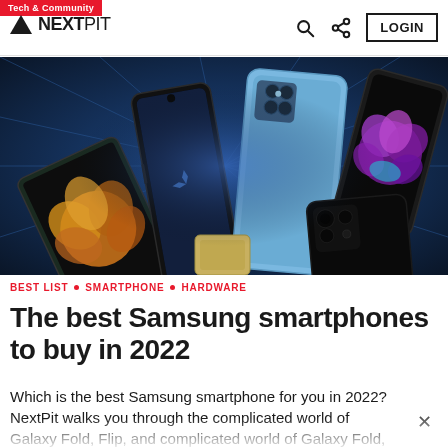Tech & Community | NEXTPIT | LOGIN
[Figure (photo): Hero image showing multiple Samsung Galaxy smartphones including foldable and standard models arranged on a blue tech background with starburst lighting effect]
BEST LIST • SMARTPHONE • HARDWARE
The best Samsung smartphones to buy in 2022
Which is the best Samsung smartphone for you in 2022? NextPit walks you through the complicated world of Galaxy Fold, Flip, and...